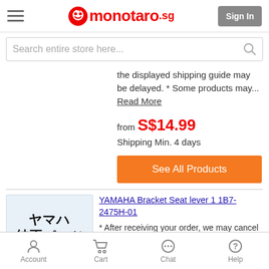monotaro.sg — Sign In
Search entire store here...
the displayed shipping guide may be delayed. * Some products may... Read More
from S$14.99
Shipping Min. 4 days
See All Products
[Figure (other): Yamaha genuine parts product image with Japanese text ヤマハ純正パーツ]
YAMAHA Bracket Seat lever 1 1B7-2475H-01
* After receiving your order, we may cancel your order if it becomes difficult to
Account   Cart   Chat   Help